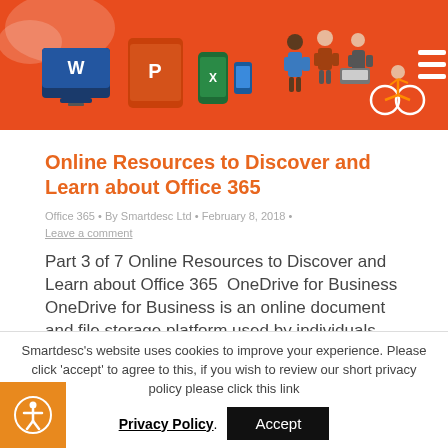[Figure (illustration): Orange Microsoft Office 365 banner with icons for Word, PowerPoint, Excel, phone devices, and illustrated people using technology on bicycles and computers.]
Online Resources to Discover and Learn about Office 365
Office 365 • By Smartdesc Ltd • February 8, 2018 • Leave a comment
Part 3 of 7 Online Resources to Discover and Learn about Office 365  OneDrive for Business OneDrive for Business is an online document and file storage platform used by individuals and teams
Smartdesc's website uses cookies to improve your experience. Please click 'accept' to agree to this, if you wish to review our short privacy policy please click this link
Privacy Policy.  Accept